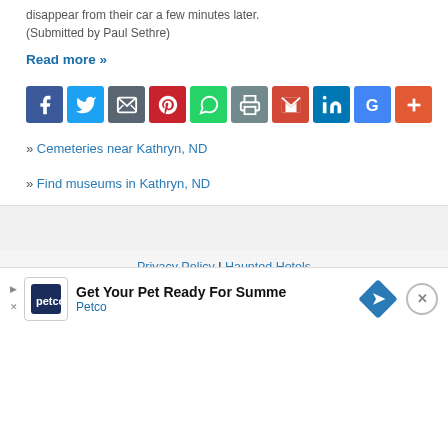disappear from their car a few minutes later. (Submitted by Paul Sethre)
Read more »
[Figure (infographic): Social share icon buttons: Facebook (blue), Twitter (light blue), Email (dark gray), Pinterest (red), WhatsApp (green), Print (gray), Gmail (red), LinkedIn (dark blue), Google (blue), More/Plus (orange-red)]
» Cemeteries near Kathryn, ND
» Find museums in Kathryn, ND
Privacy Policy | Haunted Hotels
Home  Near Me  Random  Region  Submit Location  Contact
AN ELITE CAFEMEDIA TRAVEL PUBLISHER